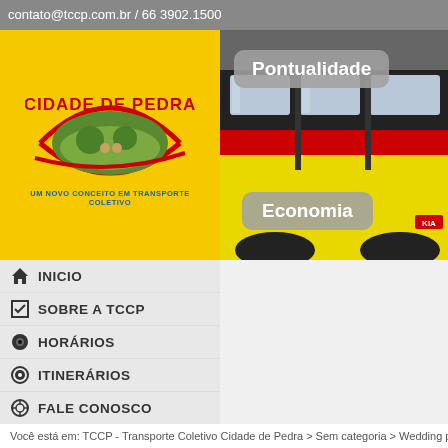contato@tccp.com.br / 66 3902.1500
[Figure (screenshot): TCCP Cidade de Pedra website screenshot showing yellow banner with logo on left and bus photo on right with 'Pontualidade' and 'Economia' badges, navigation menu, breadcrumb, and article title]
INICIO
SOBRE A TCCP
HORÁRIOS
ITINERÁRIOS
FALE CONOSCO
Você está em: TCCP - Transporte Coletivo Cidade de Pedra > Sem categoria > Wedding party
Wedding party Trends for 2010
Couples will be doing your best with the wedding period by choosing